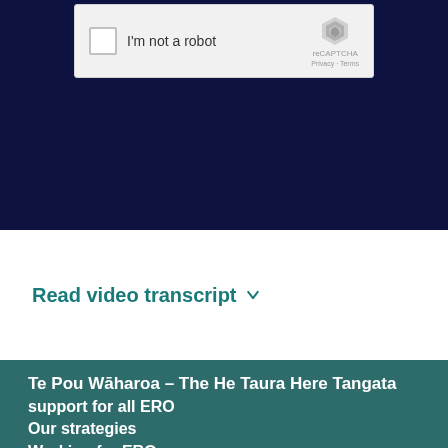[Figure (screenshot): reCAPTCHA widget showing checkbox 'I'm not a robot' on dark navy background]
Read video transcript ▾
Te Pou Wāharoa – The He Taura Here Tangata
support for all ERO
Our strategies
Working for ERO